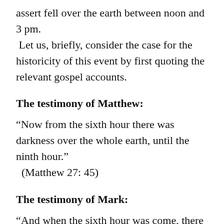assert fell over the earth between noon and 3 pm. Let us, briefly, consider the case for the historicity of this event by first quoting the relevant gospel accounts.
The testimony of Matthew:
“Now from the sixth hour there was darkness over the whole earth, until the ninth hour.” (Matthew 27: 45)
The testimony of Mark:
“And when the sixth hour was come, there was darkness over the whole earth until the ninth hour. ” (Mark 15: 33)
The testimony of Luke: